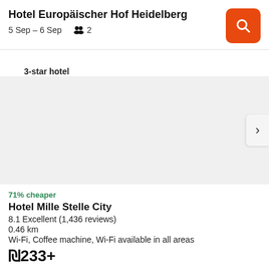Hotel Europäischer Hof Heidelberg
5 Sep – 6 Sep   2
3-star hotel
[Figure (photo): Hotel image placeholder area with a right-arrow chevron navigation button]
71% cheaper
Hotel Mille Stelle City
8.1 Excellent (1,436 reviews)
0.46 km
Wi-Fi, Coffee machine, Wi-Fi available in all areas
₪233+